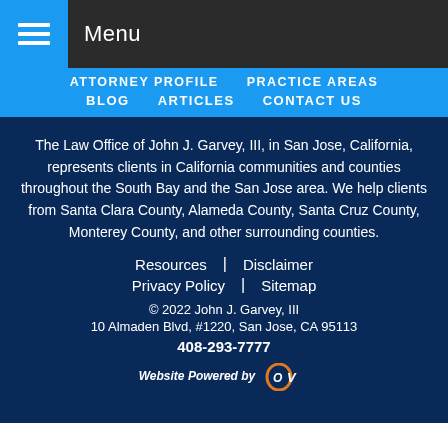Menu
ATTORNEY PROFILE
PRACTICE AREAS
BLOG
ARTICLES
CONTACT US
The Law Office of John J. Garvey, III, in San Jose, California, represents clients in California communities and counties throughout the South Bay and the San Jose area. We help clients from Santa Clara County, Alameda County, Santa Cruz County, Monterey County, and other surrounding counties.
Resources | Disclaimer
Privacy Policy | Sitemap
© 2022 John J. Garvey, III
10 Almaden Blvd, #1220, San Jose, CA 95113
408-293-7777
Website Powered by